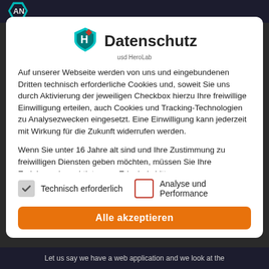[Figure (logo): Dark top navigation bar with ANT hexagon logo]
[Figure (logo): usd HeroLab shield icon in teal/red colors]
Datenschutz
Auf unserer Webseite werden von uns und eingebundenen Dritten technisch erforderliche Cookies und, soweit Sie uns durch Aktivierung der jeweiligen Checkbox hierzu Ihre freiwillige Einwilligung erteilen, auch Cookies und Tracking-Technologien zu Analysezwecken eingesetzt. Eine Einwilligung kann jederzeit mit Wirkung für die Zukunft widerrufen werden.
Wenn Sie unter 16 Jahre alt sind und Ihre Zustimmung zu freiwilligen Diensten geben möchten, müssen Sie Ihre Erziehungsberechtigten um Erlaubnis bitten.
Wir verwenden Cookies und andere Technologien auf unserer Website. Einige von ihnen sind essenziell, während andere uns
Technisch erforderlich
Analyse und Performance
Alle akzeptieren
Let us say we have a web application and we look at the